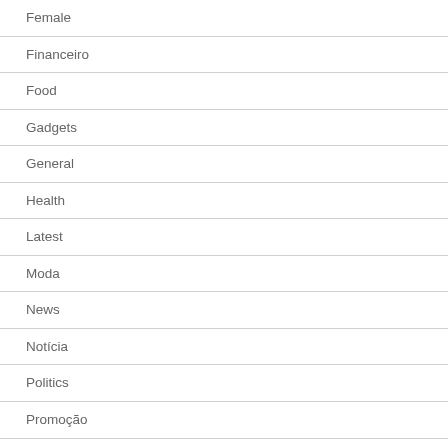Female
Financeiro
Food
Gadgets
General
Health
Latest
Moda
News
Notícia
Politics
Promoção
Saúde e Bem Estar
Serviços